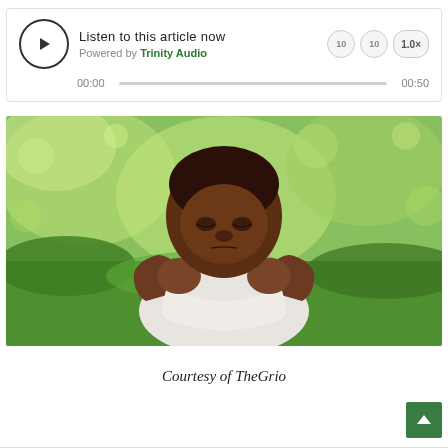[Figure (screenshot): Audio player widget showing 'Listen to this article now', Powered by Trinity Audio, with play button, rewind/forward controls, speed button (1.0x), and a progress bar with timestamps 00:00 and 00:50]
[Figure (photo): A young Black boy sitting outdoors on grass, looking down with his chin resting on both hands, wearing a white shirt. Green blurred background.]
Courtesy of TheGrio